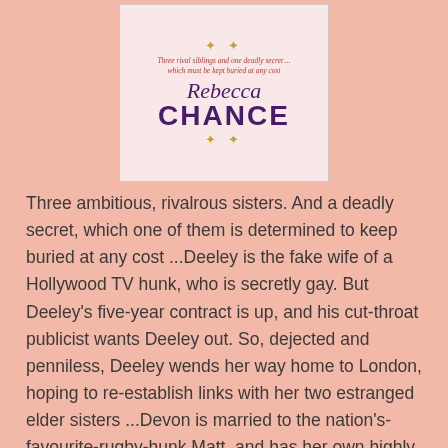[Figure (illustration): Book cover for Rebecca Chance showing tagline 'Three rival siblings and one deadly secret ... which must be kept buried at any cost', the author name 'Rebecca' in italic script and 'CHANCE' in large bold letters, with decorative gold star sparkles, on a light pink/cream background.]
Three ambitious, rivalrous sisters. And a deadly secret, which one of them is determined to keep buried at any cost ...Deeley is the fake wife of a Hollywood TV hunk, who is secretly gay. But Deeley's five-year contract is up, and his cut-throat publicist wants Deeley out. So, dejected and penniless, Deeley wends her way home to London, hoping to re-establish links with her two estranged elder sisters ...Devon is married to the nation's-favourite-rugby-hunk Matt, and has her own highly successful TV career, as the sexy hostess of her own cookery show. But behind her buxom facade, Devon is lonely and frustrated, and when a live celebrity cook-off shows her up as a fraud, she leaves sweet Matt and runs off to Tuscany, to learn a few lessons - not just in cooking - from an Italian maestro. Lastly, there's